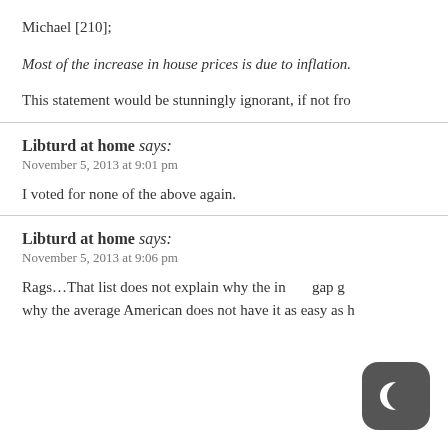Michael [210];
Most of the increase in house prices is due to inflation.
This statement would be stunningly ignorant, if not fro…
Libturd at home says:
November 5, 2013 at 9:01 pm
I voted for none of the above again.
Libturd at home says:
November 5, 2013 at 9:06 pm
Rags…That list does not explain why the in…gap … why the average American does not have it as easy as h…